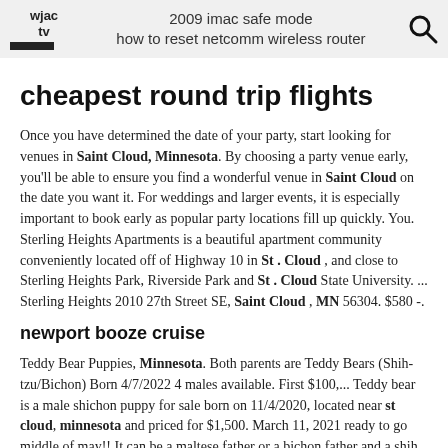wjac tv | 2009 imac safe mode
how to reset netcomm wireless router
cheapest round trip flights
Once you have determined the date of your party, start looking for venues in Saint Cloud, Minnesota. By choosing a party venue early, you'll be able to ensure you find a wonderful venue in Saint Cloud on the date you want it. For weddings and larger events, it is especially important to book early as popular party locations fill up quickly. You. Sterling Heights Apartments is a beautiful apartment community conveniently located off of Highway 10 in St . Cloud , and close to Sterling Heights Park, Riverside Park and St . Cloud State University. ... Sterling Heights 2010 27th Street SE, Saint Cloud , MN 56304. $580 -.
newport booze cruise
Teddy Bear Puppies, Minnesota. Both parents are Teddy Bears (Shih-tzu/Bichon) Born 4/7/2022 4 males available. First $100,... Teddy bear is a male shichon puppy for sale born on 11/4/2020, located near st cloud, minnesota and priced for $1,500. March 11, 2021 ready to go middle of may!! It can be a maltese father or a bichon father and a shih. 2015. 7. 26. · Book your air tickets with us and, at CheapOair you